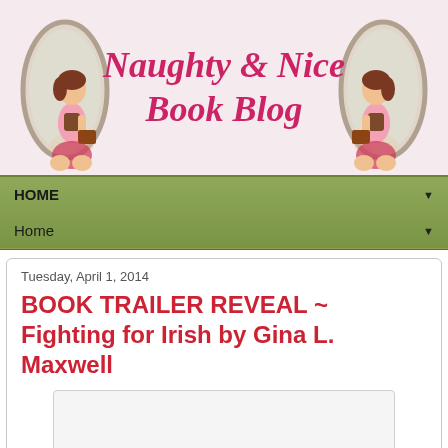[Figure (illustration): Naughty & Nice Book Blog banner with two pin-up style women kneeling with books, framed by oval mirrors, pink background, cursive pink text]
HOME ▼
Home ▼
Tuesday, April 1, 2014
BOOK TRAILER REVEAL ~ Fighting for Irish by Gina L. Maxwell
[Figure (screenshot): Embedded video placeholder box (white/light gray rectangle)]